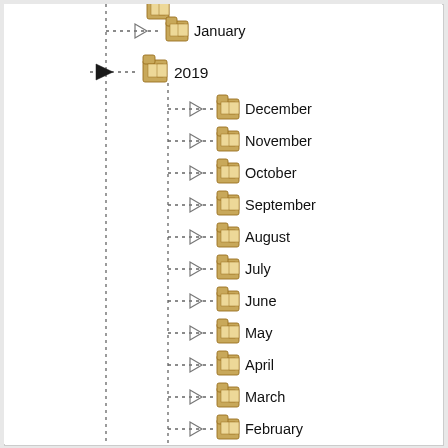[Figure (screenshot): File browser tree view showing a hierarchical folder structure. At the top is a partially visible folder, then January (indented child). Then 2019 folder (expanded) with children: December, November, October, September, August, July, June, May, April, March, February, January. Then 2018 folder (expanded) with children: December, November (partially visible at bottom).]
January
2019
December
November
October
September
August
July
June
May
April
March
February
January
2018
December
November